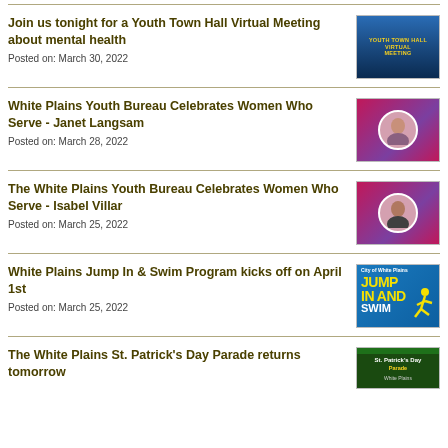Join us tonight for a Youth Town Hall Virtual Meeting about mental health
Posted on: March 30, 2022
White Plains Youth Bureau Celebrates Women Who Serve - Janet Langsam
Posted on: March 28, 2022
The White Plains Youth Bureau Celebrates Women Who Serve - Isabel Villar
Posted on: March 25, 2022
White Plains Jump In & Swim Program kicks off on April 1st
Posted on: March 25, 2022
The White Plains St. Patrick's Day Parade returns tomorrow